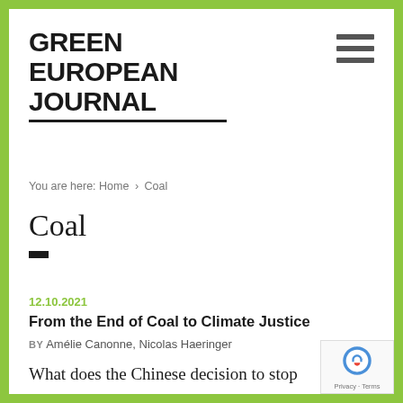GREEN EUROPEAN JOURNAL
You are here: Home › Coal
Coal
12.10.2021
From the End of Coal to Climate Justice
BY Amélie Canonne, Nicolas Haeringer
What does the Chinese decision to stop